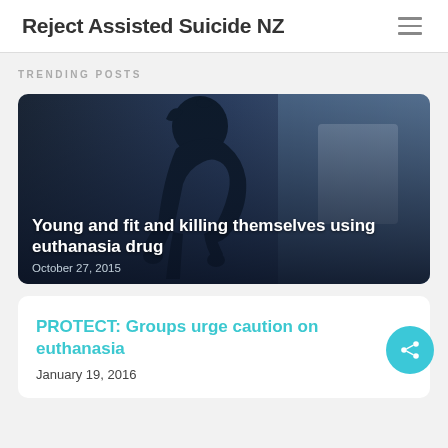Reject Assisted Suicide NZ
TRENDING POSTS
[Figure (photo): Dark silhouette of a person hunched over in distress against a blue-toned background, with article title overlay: 'Young and fit and killing themselves using euthanasia drug' dated October 27, 2015]
PROTECT: Groups urge caution on euthanasia
January 19, 2016